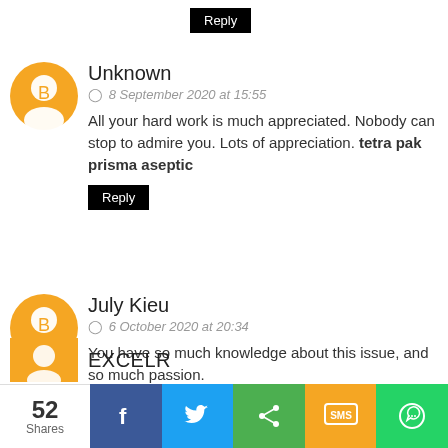Reply (button, top)
Unknown
8 September 2020 at 15:55
All your hard work is much appreciated. Nobody can stop to admire you. Lots of appreciation. tetra pak prisma aseptic
Reply (button)
July Kieu
6 October 2020 at 20:34
You have so much knowledge about this issue, and so much passion.
Reference: Key Things You Should Know to Attract Incoming Projects as a Freelance Writer
Reply (button)
EXCELR
52 Shares